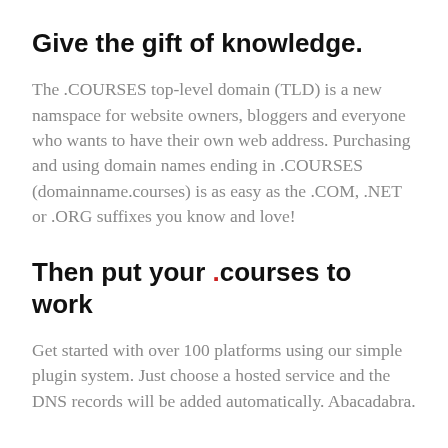Give the gift of knowledge.
The .COURSES top-level domain (TLD) is a new namspace for website owners, bloggers and everyone who wants to have their own web address. Purchasing and using domain names ending in .COURSES (domainname.courses) is as easy as the .COM, .NET or .ORG suffixes you know and love!
Then put your .courses to work
Get started with over 100 platforms using our simple plugin system. Just choose a hosted service and the DNS records will be added automatically. Abacadabra.